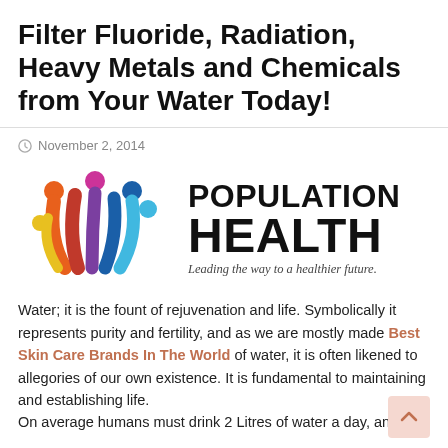Filter Fluoride, Radiation, Heavy Metals and Chemicals from Your Water Today!
November 2, 2014
[Figure (logo): Population Health logo with colorful stylized figures and text 'POPULATION HEALTH — Leading the way to a healthier future.']
Water; it is the fount of rejuvenation and life. Symbolically it represents purity and fertility, and as we are mostly made Best Skin Care Brands In The World of water, it is often likened to allegories of our own existence. It is fundamental to maintaining and establishing life.
On average humans must drink 2 Litres of water a day, and